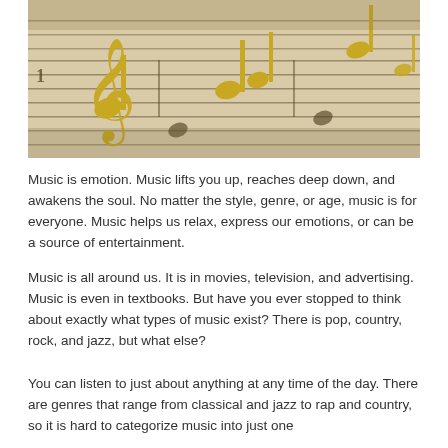[Figure (photo): Close-up photo of gold metallic musical note figurines resting on sheet music with staff lines and notes printed on aged paper.]
Music is emotion. Music lifts you up, reaches deep down, and awakens the soul. No matter the style, genre, or age, music is for everyone. Music helps us relax, express our emotions, or can be a source of entertainment.
Music is all around us. It is in movies, television, and advertising. Music is even in textbooks. But have you ever stopped to think about exactly what types of music exist? There is pop, country, rock, and jazz, but what else?
You can listen to just about anything at any time of the day. There are genres that range from classical and jazz to rap and country, so it is hard to categorize music into just one...